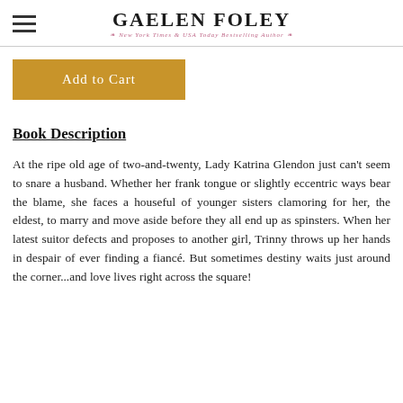Gaelen Foley — New York Times & USA Today Bestselling Author
Add to Cart
Book Description
At the ripe old age of two-and-twenty, Lady Katrina Glendon just can't seem to snare a husband. Whether her frank tongue or slightly eccentric ways bear the blame, she faces a houseful of younger sisters clamoring for her, the eldest, to marry and move aside before they all end up as spinsters. When her latest suitor defects and proposes to another girl, Trinny throws up her hands in despair of ever finding a fiancé. But sometimes destiny waits just around the corner...and love lives right across the square!